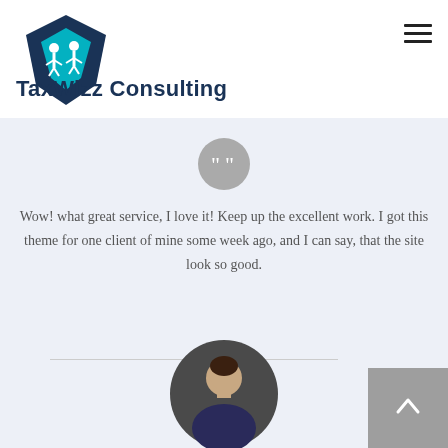[Figure (logo): TaxWizz Consulting logo: a diamond/shield shape in dark navy and cyan with two human figures inside, above the text TaxWizz Consulting]
TaxWizz Consulting
[Figure (illustration): Circular gray icon with white quotation marks (closing double quotes)]
Wow! what great service, I love it! Keep up the excellent work. I got this theme for one client of mine some week ago, and I can say, that the site look so good.
[Figure (photo): Circular cropped headshot photo of a smiling man with dark hair, wearing a dark suit]